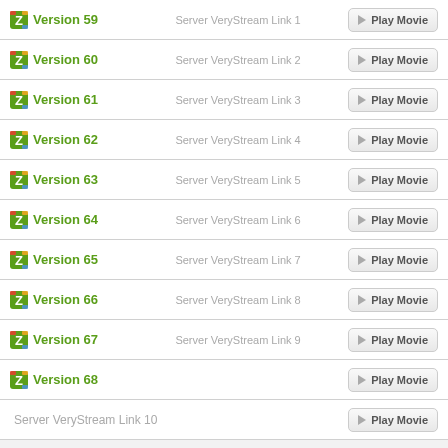Version 59  Server VeryStream Link 1  Play Movie
Version 60  Server VeryStream Link 2  Play Movie
Version 61  Server VeryStream Link 3  Play Movie
Version 62  Server VeryStream Link 4  Play Movie
Version 63  Server VeryStream Link 5  Play Movie
Version 64  Server VeryStream Link 6  Play Movie
Version 65  Server VeryStream Link 7  Play Movie
Version 66  Server VeryStream Link 8  Play Movie
Version 67  Server VeryStream Link 9  Play Movie
Version 68  Play Movie
Server VeryStream Link 10  Play Movie